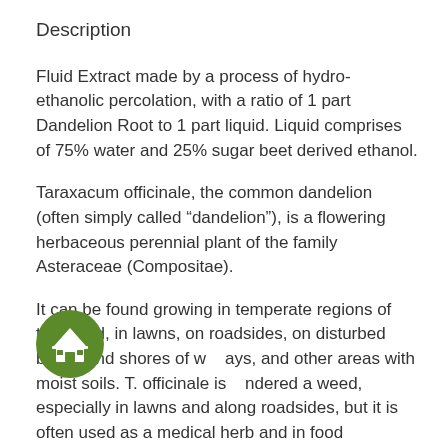Description
Fluid Extract made by a process of hydro-ethanolic percolation, with a ratio of 1 part Dandelion Root to 1 part liquid. Liquid comprises of 75% water and 25% sugar beet derived ethanol.
Taraxacum officinale, the common dandelion (often simply called “dandelion”), is a flowering herbaceous perennial plant of the family Asteraceae (Compositae).
It can be found growing in temperate regions of the world, in lawns, on roadsides, on disturbed banks and shores of w…ays, and other areas with moist soils. T. officinale is…ndered a weed, especially in lawns and along roadsides, but it is often used as a medical herb and in food preparation. Common dandelion is well known for its yellow flower heads that turn into round balls of silver tufted fruits that disperse in the wind.
[Figure (logo): Green circular icon with a building/institution symbol inside]